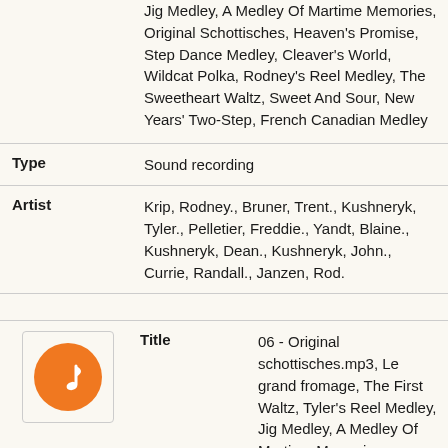Jig Medley, A Medley Of Martime Memories, Original Schottisches, Heaven's Promise, Step Dance Medley, Cleaver's World, Wildcat Polka, Rodney's Reel Medley, The Sweetheart Waltz, Sweet And Sour, New Years' Two-Step, French Canadian Medley
| Field | Value |
| --- | --- |
| Type | Sound recording |
| Artist | Krip, Rodney., Bruner, Trent., Kushneryk, Tyler., Pelletier, Freddie., Yandt, Blaine., Kushneryk, Dean., Kushneryk, John., Currie, Randall., Janzen, Rod. |
[Figure (illustration): Orange circular music note icon inside a white bordered box]
| Field | Value |
| --- | --- |
| Title | 06 - Original schottisches.mp3, Le grand fromage, The First Waltz, Tyler's Reel Medley, Jig Medley, A Medley Of Martime Memories, Original Schottisches, Heaven's |